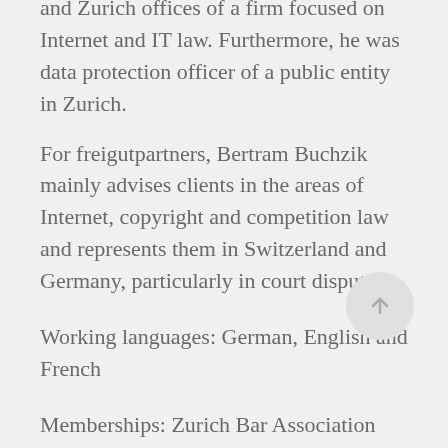and Zurich offices of a firm focused on Internet and IT law. Furthermore, he was data protection officer of a public entity in Zurich.
For freigutpartners, Bertram Buchzik mainly advises clients in the areas of Internet, copyright and competition law and represents them in Switzerland and Germany, particularly in court disputes.
Working languages: German, English and French
[Figure (other): Circular scroll-to-top button with an upward arrow]
Memberships: Zurich Bar Association (ZAV), Swiss Bar Association (SAV), Division of Technology and